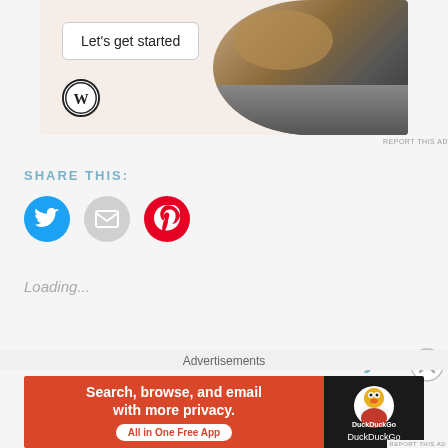[Figure (screenshot): WordPress advertisement banner with 'Let's get started' button, WordPress logo, and a photo of hands on laptop]
REPORT THIS AD
SHARE THIS:
[Figure (infographic): Three social share icon buttons: Twitter (blue circle), Email (gray circle), Pinterest (red circle)]
Loading...
I Followed A Jamie
Fire Vixen Eye Makeup
Advertisements
[Figure (screenshot): DuckDuckGo advertisement: 'Search, browse, and email with more privacy. All in One Free App' on red/orange background with DuckDuckGo logo on dark background]